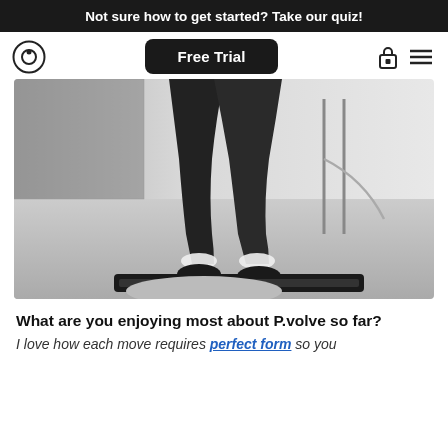Not sure how to get started? Take our quiz!
[Figure (screenshot): Navigation bar with P.volve logo on left, black 'Free Trial' button in center, lock icon and hamburger menu on right]
[Figure (photo): Black and white photo of a person's legs in workout gear stepping on a platform/step, wearing ankle weights, in a gym setting with resistance band equipment visible in background]
What are you enjoying most about P.volve so far?
I love how each move requires perfect form so you